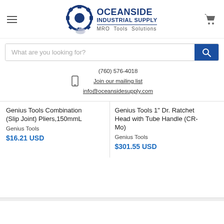[Figure (logo): Oceanside Industrial Supply logo with gear and swoosh graphic, text OCEANSIDE INDUSTRIAL SUPPLY, MRO Tools Solutions]
What are you looking for?
(760) 576-4018
Join our mailing list
info@oceansidesupply.com
Genius Tools Combination (Slip Joint) Pliers,150mmL
Genius Tools
$16.21 USD
Genius Tools 1" Dr. Ratchet Head with Tube Handle (CR-Mo)
Genius Tools
$301.55 USD